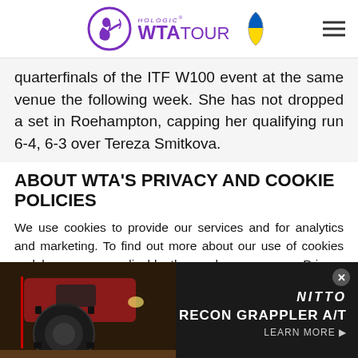Hologic WTA Tour
quarterfinals of the ITF W100 event at the same venue the following week. She has not dropped a set in Roehampton, capping her qualifying run 6-4, 6-3 over Tereza Smitkova.
ABOUT WTA'S PRIVACY AND COOKIE POLICIES
We use cookies to provide our services and for analytics and marketing. To find out more about our use of cookies and how you can disable them, please see our Privacy Policy. By continuing to browse our website, you agree to our use of cookies. Click here to find out more info.
[Figure (photo): Advertisement banner showing a truck tire (Nitto Recon Grappler A/T) with a dark background. Text reads NITTO, RECON GRAPPLER A/T, LEARN MORE.]